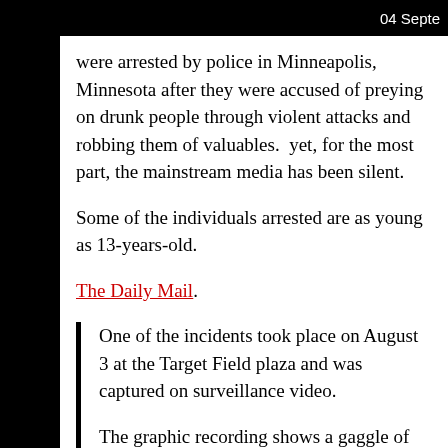04 Septem
were arrested by police in Minneapolis, Minnesota after they were accused of preying on drunk people through violent attacks and robbing them of valuables.  yet, for the most part, the mainstream media has been silent.
Some of the individuals arrested are as young as 13-years-old.
The Daily Mail.
One of the incidents took place on August 3 at the Target Field plaza and was captured on surveillance video.
The graphic recording shows a gaggle of about 12 teenagers and young men